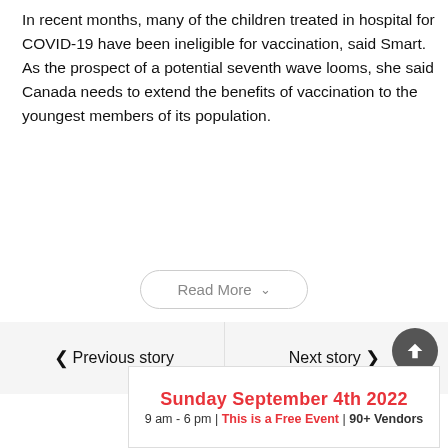In recent months, many of the children treated in hospital for COVID-19 have been ineligible for vaccination, said Smart. As the prospect of a potential seventh wave looms, she said Canada needs to extend the benefits of vaccination to the youngest members of its population.
Read More
Previous story
Next story
[Figure (other): Advertisement banner: Sunday September 4th 2022, 9 am - 6 pm | This is a Free Event | 90+ Vendors]